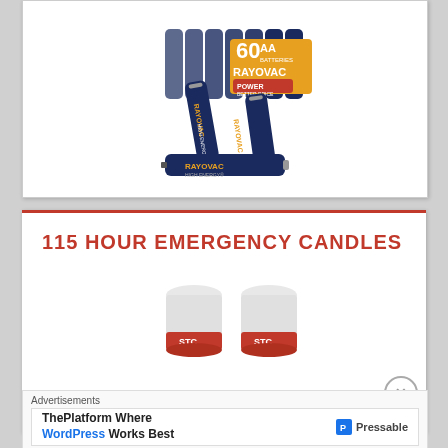[Figure (photo): Rayovac High Energy AA batteries, 60-count package with multiple batteries displayed]
115 HOUR EMERGENCY CANDLES
[Figure (photo): Two small white emergency candles in red containers]
Advertisements
ThePlatform Where WordPress Works Best — Pressable